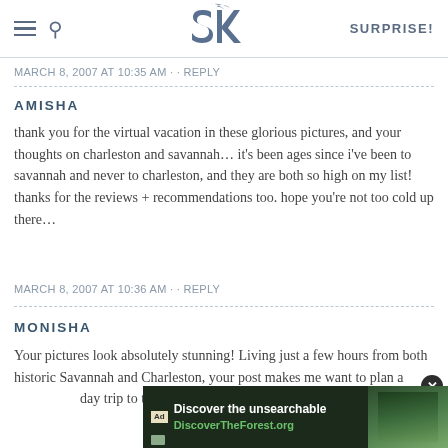SK — SURPRISE!
MARCH 8, 2007 AT 10:35 AM · · REPLY
AMISHA
thank you for the virtual vacation in these glorious pictures, and your thoughts on charleston and savannah… it's been ages since i've been to savannah and never to charleston, and they are both so high on my list! thanks for the reviews + recommendations too. hope you're not too cold up there…
MARCH 8, 2007 AT 10:36 AM · · REPLY
MONISHA
Your pictures look absolutely stunning! Living just a few hours from both historic Savannah and Charleston, your post makes me want to plan a day trip to these
[Figure (screenshot): Advertisement overlay: Discover the unsearchable — DiscoverTheForest.org with close button and forest image]